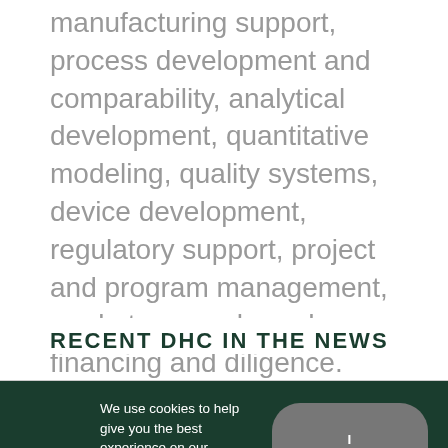manufacturing support, process development and comparability, analytical development, quantitative modeling, quality systems, device development, regulatory support, project and program management, market research, and financing and diligence. Dark Horse offers an unmatched understanding of the challenges faced by cell and gene therapy developers and is able to apply best practices from this and other industries to address a diverse range of client needs.
RECENT DHC IN THE NEWS
We use cookies to help give you the best experience on our website. By continuing you agree to our use of cookies.